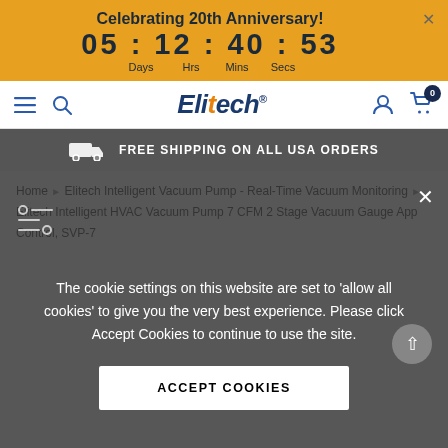Celebrating 20th Anniversary! 05 : 12 : 40 : 53 Days Hrs Mins Secs
Elitech — FREE SHIPPING ON ALL USA ORDERS
Home › Elitech Intelligent Vacuum Pump - Real-Time Vacuum Monitoring › Elitech Intelligent HVAC Vacuum Pump 7 CFM 2 Stage Vacuum Gauge App Control, SVP-7
The cookie settings on this website are set to 'allow all cookies' to give you the very best experience. Please click Accept Cookies to continue to use the site.
ACCEPT COOKIES